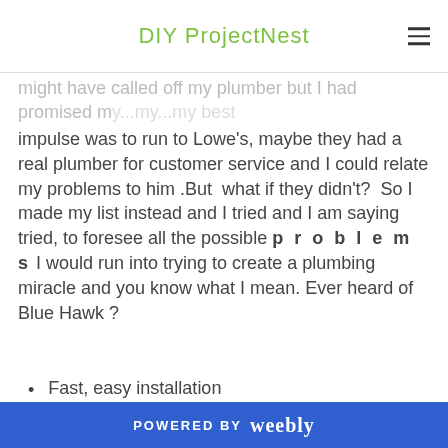DIY ProjectNest
might have called off my plumber but I had promised my...my...my best
impulse was to run to Lowe's, maybe they had a real plumber for customer service and I could relate my problems to him .But  what if they didn't?  So I made my list instead and I tried and I am saying tried, to foresee all the possible p r o b l e m s I would run into trying to create a plumbing miracle and you know what I mean. Ever heard of Blue Hawk ?
Fast, easy installation
No soldering, gluing or crimping
we were hoping so but unfortunately that was not the case only because the problem were the ancient pipes which
POWERED BY weebly